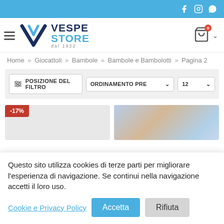Vespe Store - Social icons header bar
[Figure (logo): Vespe Store logo with V chevron mark and text VESPE STORE dal 1922]
Home » Giocattoli » Bambole » Bambole e Bambolotti » Pagina 2
POSIZIONE DEL FILTRO | ORDINAMENTO PRE... | 12
[Figure (photo): Product area with -17% discount badge on left product, and product image on right]
Questo sito utilizza cookies di terze parti per migliorare l'esperienza di navigazione. Se continui nella navigazione accetti il loro uso.
Cookie e Privacy Policy   Accetta   Rifiuta